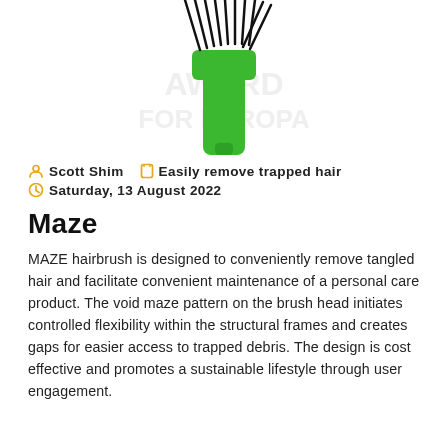[Figure (photo): A green hairbrush with black bristles photographed against a white background with faint watermark text. Only the upper portion of the brush head is visible, cropped at the top of the page.]
Scott Shim   Easily remove trapped hair
Saturday, 13 August 2022
Maze
MAZE hairbrush is designed to conveniently remove tangled hair and facilitate convenient maintenance of a personal care product. The void maze pattern on the brush head initiates controlled flexibility within the structural frames and creates gaps for easier access to trapped debris. The design is cost effective and promotes a sustainable lifestyle through user engagement.